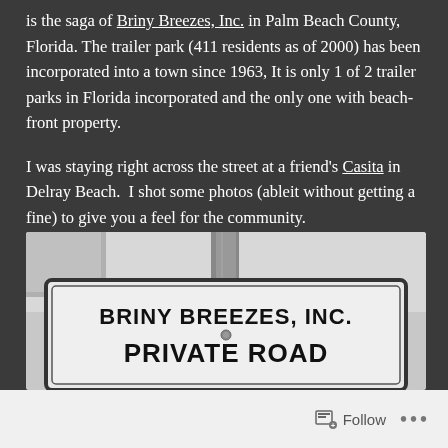is the saga of Briny Breezes, Inc. in Palm Beach County, Florida. The trailer park (411 residents as of 2000) has been incorporated into a town since 1963, It is only 1 of 2 trailer parks in Florida incorporated and the only one with beach-front property.
I was staying right across the street at a friend's Casita in Delray Beach.  I shot some photos (ableit without getting a fine) to give you a feel for the community.
[Figure (photo): Black and white photograph of a sign reading 'BRINY BREEZES, INC. PRIVATE ROAD' with a wooden post visible behind it and a light sky background.]
Follow ...